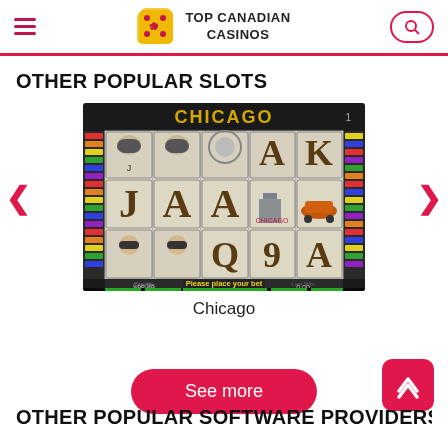TOP CANADIAN CASINOS
OTHER POPULAR SLOTS
[Figure (screenshot): Chicago slot machine game screenshot showing spinning reels with playing card symbols (A, K, J, Q, 9), gangster/1920s Chicago themed symbols, colorful side panels, and 'Please place your bet' text at the bottom with credits 498.40 and last win 0.00]
Chicago
See more
OTHER POPULAR SOFTWARE PROVIDERS